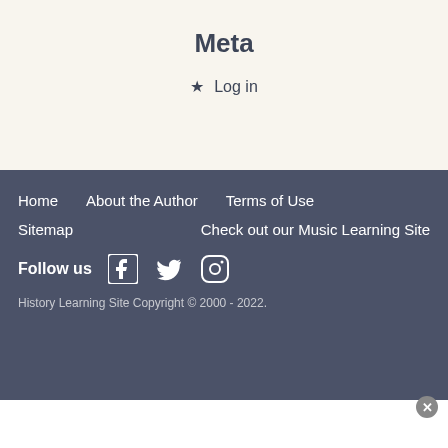Meta
Log in
Home   About the Author   Terms of Use   Sitemap   Check out our Music Learning Site   Follow us   History Learning Site Copyright © 2000 - 2022.